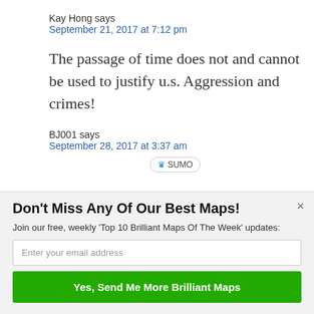Kay Hong says
September 21, 2017 at 7:12 pm
The passage of time does not and cannot be used to justify u.s. Aggression and crimes!
BJ001 says
September 28, 2017 at 3:37 am
[Figure (logo): SUMO badge/widget with crown icon]
×
Don't Miss Any Of Our Best Maps!
Join our free, weekly 'Top 10 Brilliant Maps Of The Week' updates:
Enter your email address
Yes, Send Me More Brilliant Maps